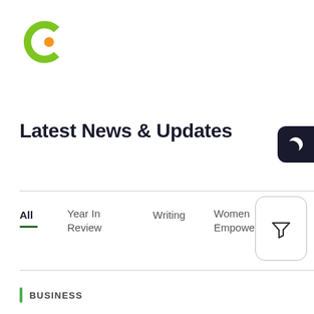[Figure (logo): Cowrywise logo: green C shape with orange dot inside]
Latest News & Updates
[Figure (other): Dark mode toggle button (crescent moon icon on dark background)]
All
Year In Review
Writing
Women Empowerment
Women
[Figure (other): Filter icon button with rounded rectangle border]
BUSINESS
SME Spotlight: Simeon's Pivot Resources
3rd June 2022
Simeon's Pivot is a Human Resources and Management Consulting company based in Lagos. It provides HR